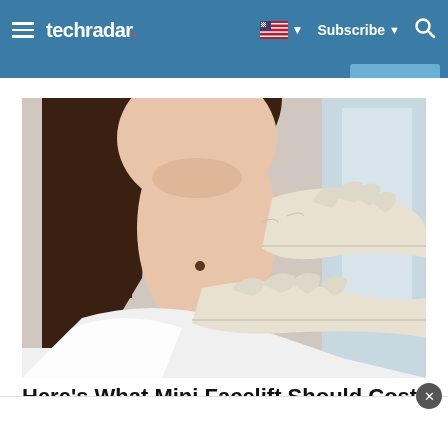techradar  Subscribe
[Figure (photo): Close-up photo of a woman's neck and décolletage area with a doctor or medical professional in white latex gloves examining or touching the patient's neck area. The woman has long dark hair and is wearing a white garment.]
Here's What Mini Facelift Should Cost You In 2022 (Prices Might Surprise You)